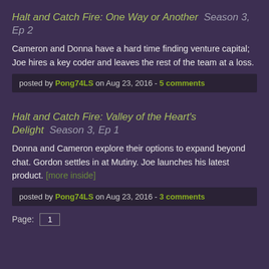Halt and Catch Fire: One Way or Another Season 3, Ep 2
Cameron and Donna have a hard time finding venture capital; Joe hires a key coder and leaves the rest of the team at a loss.
posted by Pong74LS on Aug 23, 2016 - 5 comments
Halt and Catch Fire: Valley of the Heart's Delight Season 3, Ep 1
Donna and Cameron explore their options to expand beyond chat. Gordon settles in at Mutiny. Joe launches his latest product. [more inside]
posted by Pong74LS on Aug 23, 2016 - 3 comments
Page: 1